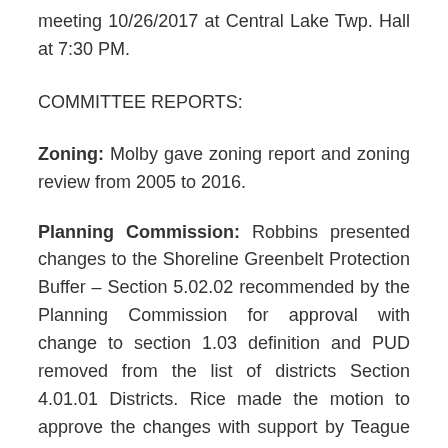meeting 10/26/2017 at Central Lake Twp. Hall at 7:30 PM.
COMMITTEE REPORTS:
Zoning: Molby gave zoning report and zoning review from 2005 to 2016.
Planning Commission: Robbins presented changes to the Shoreline Greenbelt Protection Buffer – Section 5.02.02 recommended by the Planning Commission for approval with change to section 1.03 definition and PUD removed from the list of districts Section 4.01.01 Districts. Rice made the motion to approve the changes with support by Teague and the motion carried. Side yard setbacks in commercial districts to be discussed.